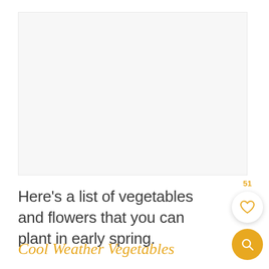[Figure (photo): Large image placeholder area with light gray background, likely a photo of vegetables or flowers for early spring planting.]
Here's a list of vegetables and flowers that you can plant in early spring.
Cool Weather Vegetables